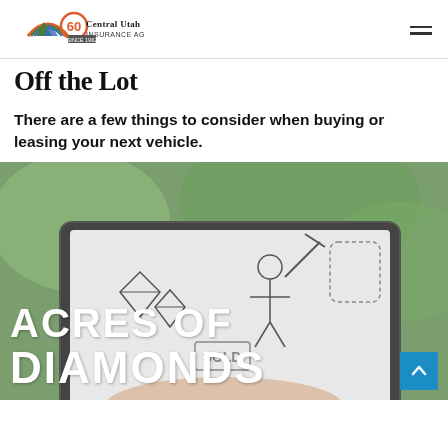Central Utah Insurance Agency 60
Off the Lot
There are a few things to consider when buying or leasing your next vehicle.
[Figure (photo): A person holding a tablet displaying hand-drawn illustrations of diamonds, a miner, and a sold sign, with bold white text overlaid reading 'ACRES OF DIAMONDS'. A blue back-to-top button is visible in the bottom-right corner.]